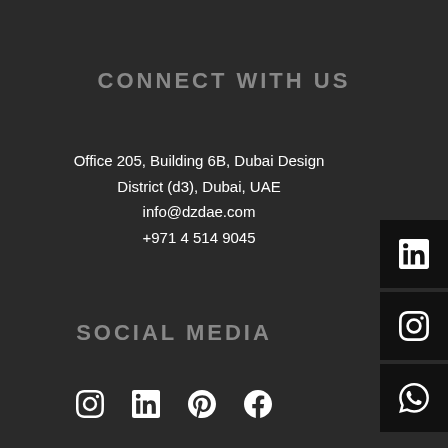CONNECT WITH US
Office 205, Building 6B, Dubai Design District (d3), Dubai, UAE
info@dzdae.com
+971 4 514 9045
[Figure (infographic): Three black square icon buttons on the right side: LinkedIn (in), Instagram (camera), WhatsApp (phone/bubble) icons]
SOCIAL MEDIA
[Figure (infographic): Four social media icons in a row at the bottom: Instagram, LinkedIn, Pinterest, Facebook]